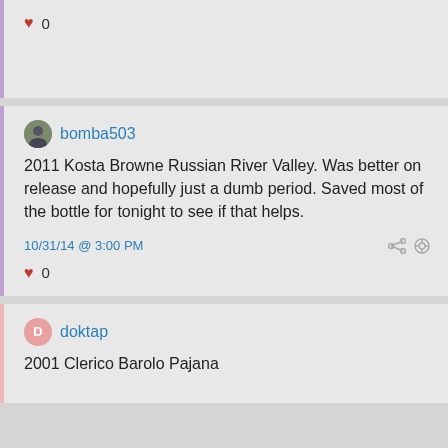❤ 0
bomba503
2011 Kosta Browne Russian River Valley. Was better on release and hopefully just a dumb period. Saved most of the bottle for tonight to see if that helps.
10/31/14 @ 3:00 PM
❤ 0
doktap
2001 Clerico Barolo Pajana